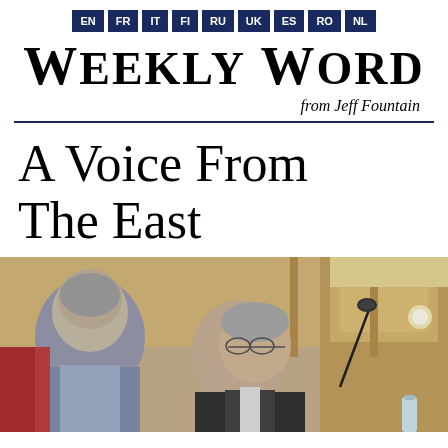EN FR IT FI RU UK ES RO NL
Weekly Word
from Jeff Fountain
A Voice From The East
[Figure (photo): Two men in business attire seated in what appears to be an ornate parliamentary or conference hall with wooden paneling; a microphone is visible in the foreground; one man faces away while the other looks toward him.]